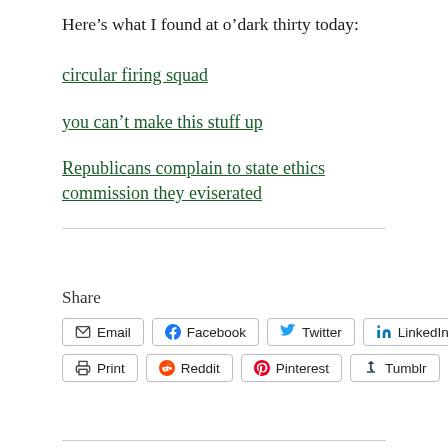Here's what I found at o'dark thirty today:
circular firing squad
you can't make this stuff up
Republicans complain to state ethics commission they eviserated
Share
Email | Facebook | Twitter | LinkedIn | Print | Reddit | Pinterest | Tumblr